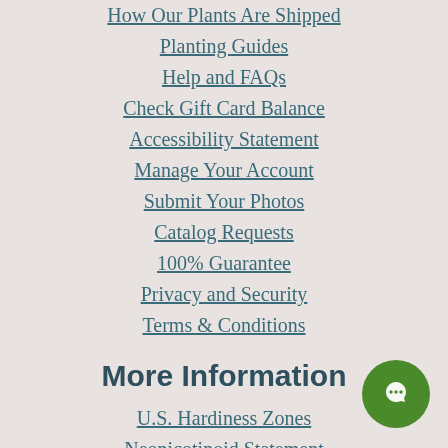How Our Plants Are Shipped
Planting Guides
Help and FAQs
Check Gift Card Balance
Accessibility Statement
Manage Your Account
Submit Your Photos
Catalog Requests
100% Guarantee
Privacy and Security
Terms & Conditions
More Information
U.S. Hardiness Zones
Neonicotinoid Statement
Wedding Information
State Flowers and Birds
Product Videos
Company Info
[Figure (illustration): Green circular chat button with white speech bubble icon]